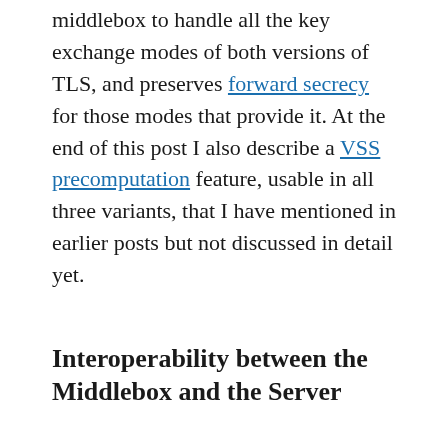middlebox to handle all the key exchange modes of both versions of TLS, and preserves forward secrecy for those modes that provide it. At the end of this post I also describe a VSS precomputation feature, usable in all three variants, that I have mentioned in earlier posts but not discussed in detail yet.
Interoperability between the Middlebox and the Server
For ease of reference it may be useful to enumerate the shared parameters used for interoperability between the middlebox and the server, some of which are applicable to all three variants and have already been discussed